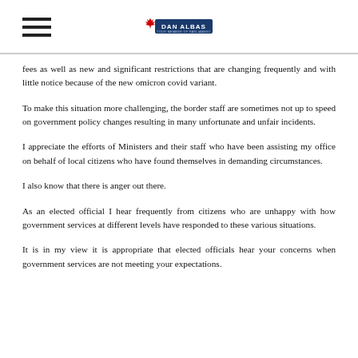DAN ALBAS
fees as well as new and significant restrictions that are changing frequently and with little notice because of the new omicron covid variant.
To make this situation more challenging, the border staff are sometimes not up to speed on government policy changes resulting in many unfortunate and unfair incidents.
I appreciate the efforts of Ministers and their staff who have been assisting my office on behalf of local citizens who have found themselves in demanding circumstances.
I also know that there is anger out there.
As an elected official I hear frequently from citizens who are unhappy with how government services at different levels have responded to these various situations.
It is in my view it is appropriate that elected officials hear your concerns when government services are not meeting your expectations.